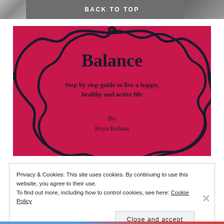BACK TO TOP
[Figure (illustration): Book cover for 'Balance' by Roya Rohani on a crimson/pink background with a decorative ornate frame. Title reads 'Balance', subtitle reads 'Step by step guide to live a happy, healthy and active life', author listed as 'By Roya Rohani'.]
Privacy & Cookies: This site uses cookies. By continuing to use this website, you agree to their use.
To find out more, including how to control cookies, see here: Cookie Policy
Close and accept